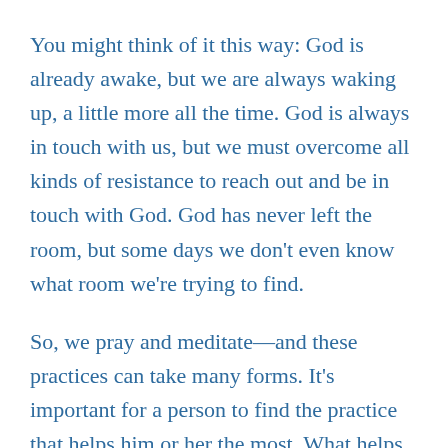You might think of it this way: God is already awake, but we are always waking up, a little more all the time. God is always in touch with us, but we must overcome all kinds of resistance to reach out and be in touch with God. God has never left the room, but some days we don't even know what room we're trying to find.
So, we pray and meditate—and these practices can take many forms. It's important for a person to find the practice that helps him or her the most. What helps you quiet down and listen? What helps you open your